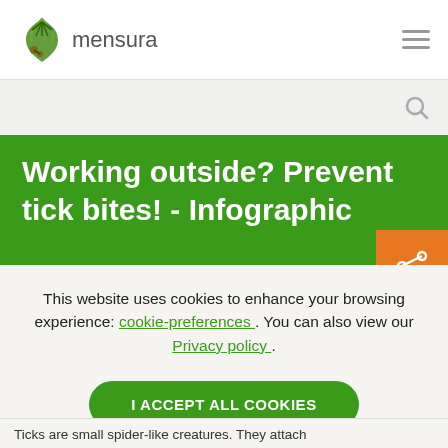mensura
Working outside? Prevent tick bites! - Infographic
This website uses cookies to enhance your browsing experience: cookie-preferences . You can also view our Privacy policy .
I ACCEPT ALL COOKIES
Ticks are small spider-like creatures. They attach